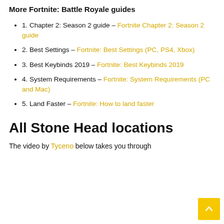More Fortnite: Battle Royale guides
1. Chapter 2: Season 2 guide – Fortnite Chapter 2: Season 2 guide
2. Best Settings – Fortnite: Best Settings (PC, PS4, Xbox)
3. Best Keybinds 2019 – Fortnite: Best Keybinds 2019
4. System Requirements – Fortnite: System Requirements (PC and Mac)
5. Land Faster – Fortnite: How to land faster
All Stone Head locations
The video by Tyceno below takes you through